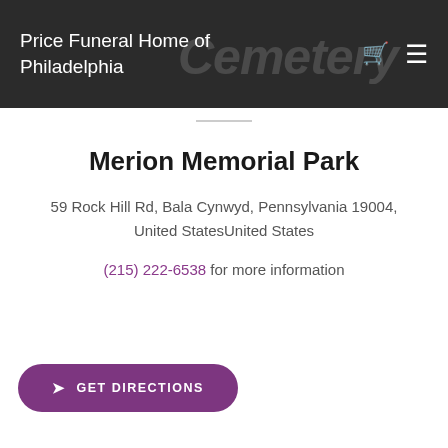Price Funeral Home of Philadelphia Cemetery
Merion Memorial Park
59 Rock Hill Rd, Bala Cynwyd, Pennsylvania 19004, United StatesUnited States
(215) 222-6538 for more information
GET DIRECTIONS